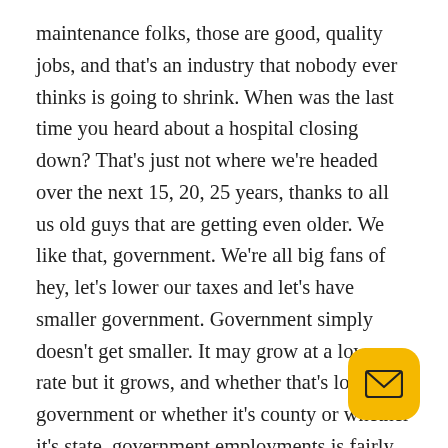maintenance folks, those are good, quality jobs, and that's an industry that nobody ever thinks is going to shrink. When was the last time you heard about a hospital closing down? That's just not where we're headed over the next 15, 20, 25 years, thanks to all us old guys that are getting even older. We like that, government. We're all big fans of hey, let's lower our taxes and let's have smaller government. Government simply doesn't get smaller. It may grow at a lower rate but it grows, and whether that's local government or whether it's county or whether it's state, government employments is fairly solid. And for the most part again, government employees fit that B model, higher education. Every school district is obviously a great place. Everybody has a school district, if there's a community college, there's a university nearby. Ag you're talking about good quality kinds of jobs that have